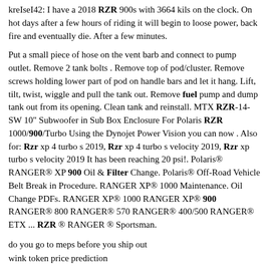kreIseI42: I have a 2018 RZR 900s with 3664 kils on the clock. On hot days after a few hours of riding it will begin to loose power, back fire and eventually die. After a few minutes.
Put a small piece of hose on the vent barb and connect to pump outlet. Remove 2 tank bolts . Remove top of pod/cluster. Remove screws holding lower part of pod on handle bars and let it hang. Lift, tilt, twist, wiggle and pull the tank out. Remove fuel pump and dump tank out from its opening. Clean tank and reinstall. MTX RZR-14-SW 10" Subwoofer in Sub Box Enclosure For Polaris RZR 1000/900/Turbo Using the Dynojet Power Vision you can now . Also for: Rzr xp 4 turbo s 2019, Rzr xp 4 turbo s velocity 2019, Rzr xp turbo s velocity 2019 It has been reaching 20 psi!. Polaris® RANGER® XP 900 Oil & Filter Change. Polaris® Off-Road Vehicle Belt Break in Procedure. RANGER XP® 1000 Maintenance. Oil Change PDFs. RANGER XP® 1000 RANGER XP® 900 RANGER® 800 RANGER® 570 RANGER® 400/500 RANGER® ETX ... RZR ® RANGER ® Sportsman.
do you go to meps before you ship out
wink token price prediction
spokane craigslist trailers for sale by owner